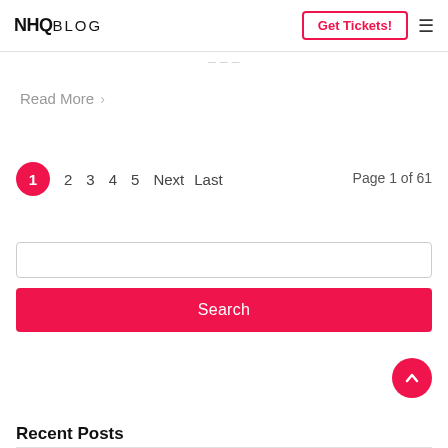NHQ BLOG — Get Tickets!
Read More >
1  2  3  4  5  Next  Last     Page 1 of 61
Search
Recent Posts